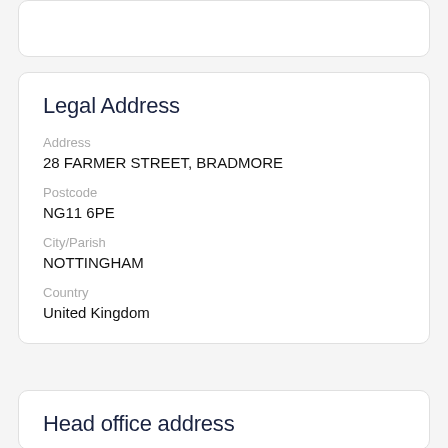Legal Address
Address
28 FARMER STREET, BRADMORE
Postcode
NG11 6PE
City/Parish
NOTTINGHAM
Country
United Kingdom
Head office address